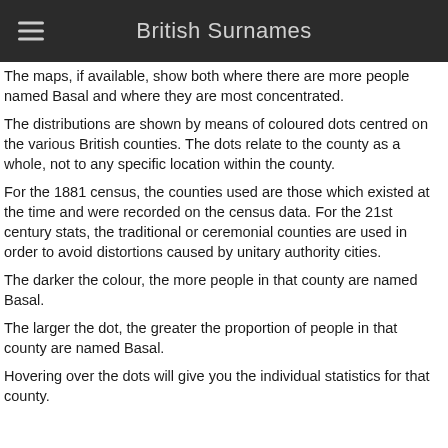British Surnames
The maps, if available, show both where there are more people named Basal and where they are most concentrated.
The distributions are shown by means of coloured dots centred on the various British counties. The dots relate to the county as a whole, not to any specific location within the county.
For the 1881 census, the counties used are those which existed at the time and were recorded on the census data. For the 21st century stats, the traditional or ceremonial counties are used in order to avoid distortions caused by unitary authority cities.
The darker the colour, the more people in that county are named Basal.
The larger the dot, the greater the proportion of people in that county are named Basal.
Hovering over the dots will give you the individual statistics for that county.